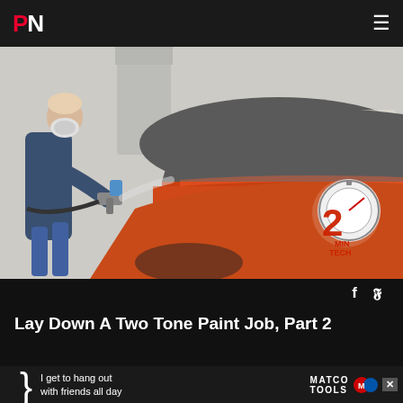PN (logo) | hamburger menu
[Figure (photo): A man in a blue jumpsuit and respirator mask spray painting a classic muscle car with an HVLP spray gun in a paint booth. The car is two-tone orange and gray. A '2 Minute Tech' logo overlay appears in the bottom right corner of the image.]
Lay Down A Two Tone Paint Job, Part 2
[Figure (infographic): Bottom ad bar showing a curly brace symbol followed by text 'I get to hang out with friends all day' and a Matco Tools logo on the right with a close X button.]